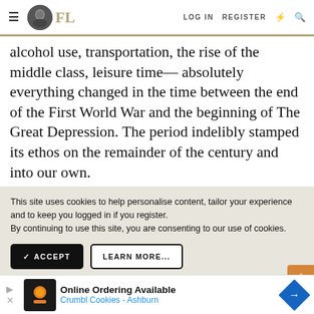FL — LOG IN  REGISTER
alcohol use, transportation, the rise of the middle class, leisure time— absolutely everything changed in the time between the end of the First World War and the beginning of The Great Depression. The period indelibly stamped its ethos on the remainder of the century and into our own.
This site uses cookies to help personalise content, tailor your experience and to keep you logged in if you register.
By continuing to use this site, you are consenting to our use of cookies.
✓ ACCEPT    LEARN MORE...
If the 1920s were a time of breathless reinvention, the 1930s w… Depres… every
[Figure (screenshot): Advertisement banner: Online Ordering Available — Crumbl Cookies - Ashburn]